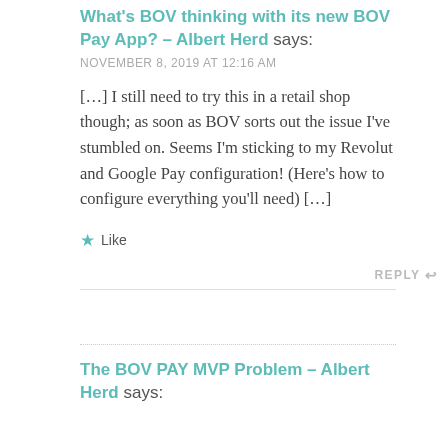What's BOV thinking with its new BOV Pay App? – Albert Herd says:
NOVEMBER 8, 2019 AT 12:16 AM
[…] I still need to try this in a retail shop though; as soon as BOV sorts out the issue I've stumbled on. Seems I'm sticking to my Revolut and Google Pay configuration! (Here's how to configure everything you'll need) […]
★ Like
REPLY ↩
The BOV PAY MVP Problem – Albert Herd says: